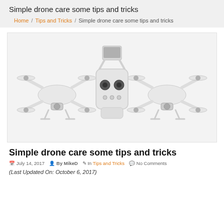Simple drone care some tips and tricks
Home / Tips and Tricks / Simple drone care some tips and tricks
[Figure (photo): Two white DJI Phantom drones flanking a white DJI remote controller with a tablet holder, all on a white/light gray background.]
Simple drone care some tips and tricks
July 14, 2017  By MikeD  In Tips and Tricks  No Comments
(Last Updated On: October 6, 2017)